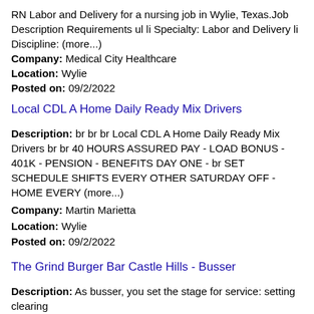RN Labor and Delivery for a nursing job in Wylie, Texas.Job Description Requirements ul li Specialty: Labor and Delivery li Discipline: (more...)
Company: Medical City Healthcare
Location: Wylie
Posted on: 09/2/2022
Local CDL A Home Daily Ready Mix Drivers
Description: br br br Local CDL A Home Daily Ready Mix Drivers br br 40 HOURS ASSURED PAY - LOAD BONUS - 401K - PENSION - BENEFITS DAY ONE - br SET SCHEDULE SHIFTS EVERY OTHER SATURDAY OFF - HOME EVERY (more...)
Company: Martin Marietta
Location: Wylie
Posted on: 09/2/2022
The Grind Burger Bar Castle Hills - Busser
Description: As busser, you set the stage for service: setting clearing
Company: Seasoned
Location: The Colony
Posted on: 09/2/2022
Local CDL A Home Daily Drivers Recent Grads Welcome